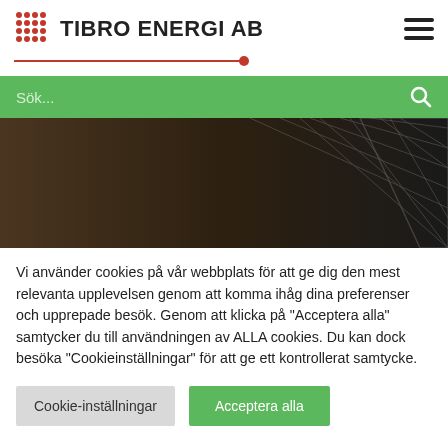TIBRO ENERGI AB
[Figure (screenshot): Hero banner image showing solar panels or dark textured surface with geometric lines, dark brown and black tones]
Vi använder cookies på vår webbplats för att ge dig den mest relevanta upplevelsen genom att komma ihåg dina preferenser och upprepade besök. Genom att klicka på "Acceptera alla" samtycker du till användningen av ALLA cookies. Du kan dock besöka "Cookieinställningar" för att ge ett kontrollerat samtycke.
Cookie-inställningar
Acceptera alla